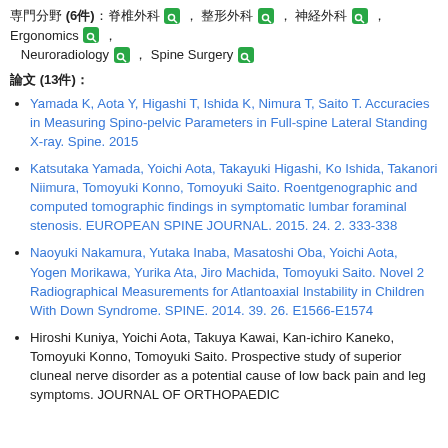専門分野 (6件): 脊椎外科, 整形外科, 神経外科, Ergonomics, Neuroradiology, Spine Surgery
論文 (13件)
Yamada K, Aota Y, Higashi T, Ishida K, Nimura T, Saito T. Accuracies in Measuring Spino-pelvic Parameters in Full-spine Lateral Standing X-ray. Spine. 2015
Katsutaka Yamada, Yoichi Aota, Takayuki Higashi, Ko Ishida, Takanori Niimura, Tomoyuki Konno, Tomoyuki Saito. Roentgenographic and computed tomographic findings in symptomatic lumbar foraminal stenosis. EUROPEAN SPINE JOURNAL. 2015. 24. 2. 333-338
Naoyuki Nakamura, Yutaka Inaba, Masatoshi Oba, Yoichi Aota, Yogen Morikawa, Yurika Ata, Jiro Machida, Tomoyuki Saito. Novel 2 Radiographical Measurements for Atlantoaxial Instability in Children With Down Syndrome. SPINE. 2014. 39. 26. E1566-E1574
Hiroshi Kuniya, Yoichi Aota, Takuya Kawai, Kan-ichiro Kaneko, Tomoyuki Konno, Tomoyuki Saito. Prospective study of superior cluneal nerve disorder as a potential cause of low back pain and leg symptoms. JOURNAL OF ORTHOPAEDIC